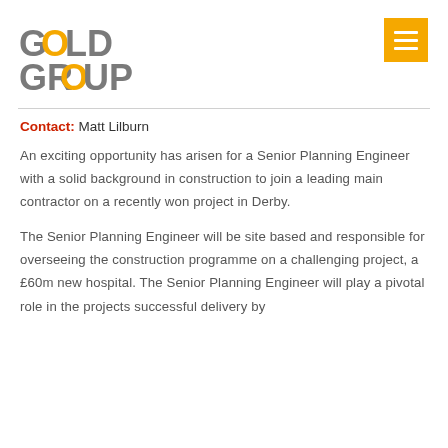[Figure (logo): Gold Group logo with stylized letter G in gold and grey text reading GOLD GROUP]
Contact: Matt Lilburn
An exciting opportunity has arisen for a Senior Planning Engineer with a solid background in construction to join a leading main contractor on a recently won project in Derby.
The Senior Planning Engineer will be site based and responsible for overseeing the construction programme on a challenging project, a £60m new hospital. The Senior Planning Engineer will play a pivotal role in the projects successful delivery by